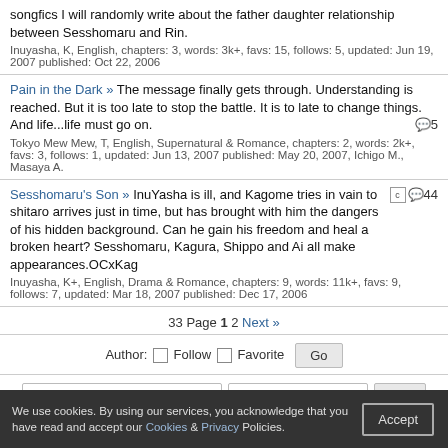songfics I will randomly write about the father daughter relationship between Sesshomaru and Rin.
Inuyasha, K, English, chapters: 3, words: 3k+, favs: 15, follows: 5, updated: Jun 19, 2007 published: Oct 22, 2006
Pain in the Dark » The message finally gets through. Understanding is reached. But it is too late to stop the battle. It is to late to change things. And life...life must go on.
Tokyo Mew Mew, T, English, Supernatural & Romance, chapters: 2, words: 2k+, favs: 3, follows: 1, updated: Jun 13, 2007 published: May 20, 2007, Ichigo M., Masaya A.
Sesshomaru's Son » InuYasha is ill, and Kagome tries in vain to shitaro arrives just in time, but has brought with him the dangers of his hidden background. Can he gain his freedom and heal a broken heart? Sesshomaru, Kagura, Shippo and Ai all make appearances.OCxKag
Inuyasha, K+, English, Drama & Romance, chapters: 9, words: 11k+, favs: 9, follows: 7, updated: Mar 18, 2007 published: Dec 17, 2006
33 Page 1 2 Next »
Author: Follow Favorite Go
All Category Sort: Updated Go
We use cookies. By using our services, you acknowledge that you have read and accept our Cookies & Privacy Policies. Accept